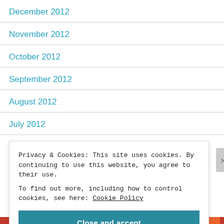December 2012
November 2012
October 2012
September 2012
August 2012
July 2012
Privacy & Cookies: This site uses cookies. By continuing to use this website, you agree to their use.
To find out more, including how to control cookies, see here: Cookie Policy
Close and accept